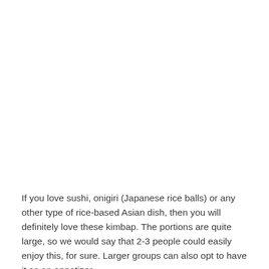If you love sushi, onigiri (Japanese rice balls) or any other type of rice-based Asian dish, then you will definitely love these kimbap. The portions are quite large, so we would say that 2-3 people could easily enjoy this, for sure. Larger groups can also opt to have it as an appetizer.